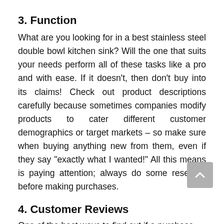3. Function
What are you looking for in a best stainless steel double bowl kitchen sink? Will the one that suits your needs perform all of these tasks like a pro and with ease. If it doesn’t, then don’t buy into its claims! Check out product descriptions carefully because sometimes companies modify products to cater different customer demographics or target markets – so make sure when buying anything new from them, even if they say “exactly what I wanted!” All this means is paying attention; always do some research before making purchases.
4. Customer Reviews
One of the best ways to find out if a purchase